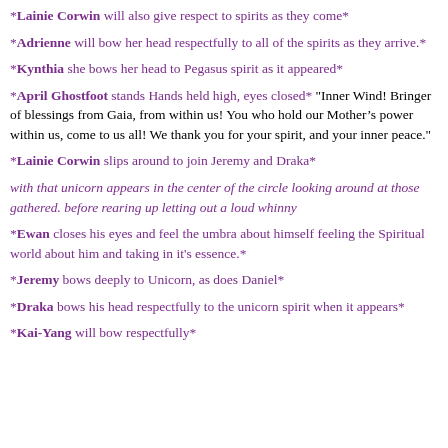*Lainie Corwin will also give respect to spirits as they come*
*Adrienne will bow her head respectfully to all of the spirits as they arrive.*
*Kynthia she bows her head to Pegasus spirit as it appeared*
*April Ghostfoot stands Hands held high, eyes closed*  "Inner Wind! Bringer of blessings from Gaia, from within us! You who hold our Mother’s power within us, come to us all! We thank you for your spirit, and your inner peace."
*Lainie Corwin slips around to join Jeremy and Draka*
with that unicorn appears in the center of the circle looking around at those gathered. before rearing up letting out a loud whinny
*Ewan closes his eyes and feel the umbra about himself feeling the Spiritual world about him and taking in it's essence.*
*Jeremy bows deeply to Unicorn, as does Daniel*
*Draka bows his head respectfully to the unicorn spirit when it appears*
*Kai-Yang will bow respectfully*